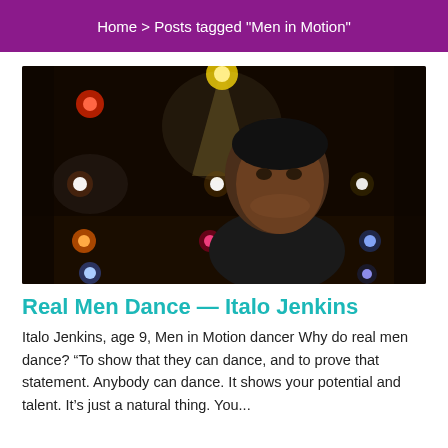Home > Posts tagged "Men in Motion"
[Figure (photo): Young boy standing in front of colorful stage lights on a dark background, smiling slightly, wearing a black shirt.]
Real Men Dance — Italo Jenkins
Italo Jenkins, age 9, Men in Motion dancer Why do real men dance? “To show that they can dance, and to prove that statement. Anybody can dance. It shows your potential and talent. It’s just a natural thing. You...